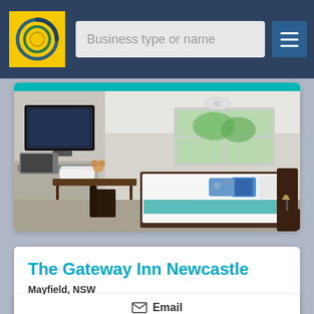[Figure (screenshot): Website navigation bar with yellow circular logo, 'Business type or name' search field placeholder, and hamburger menu icon on dark blue background]
[Figure (photo): Hotel room interior showing a large bed with white linens and teal/floral accent pillows, wall-mounted flat screen TV, window with outdoor greenery visible, dark wooden desk with folded towels and small decorative item]
The Gateway Inn Newcastle
Mayfield, NSW
Address: 26 William Street, Mayfield NSW 2304
Email